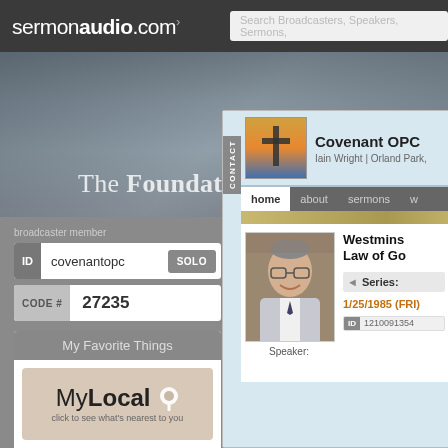[Figure (screenshot): SermonAudio.com website screenshot showing broadcaster member login panel with ID 'covenantopc', CODE# 27235, My Favorite Things section with MyLocal and MyChurch widgets, and a Covenant OPC church profile page showing a Westminster sermon dated 1/25/1985 (FRI) with speaker photo and sermon ID 1210091354]
sermonaudio.com — Search Broadcasters, Speakers, Sermons,
The Foundations Conference
broadcaster member
ID  covenantopc  SOLO
CODE #  27235
My Favorite Things
MyLocal — click to see what's nearest to you
MyChurch — click to specify your home church
Covenant OPC
Iain Wright | Orland Park,
home  about  sermons  w
Westminster Law of Go
Series:
1/25/1985 (FRI)
Speaker:
ID  1210091354